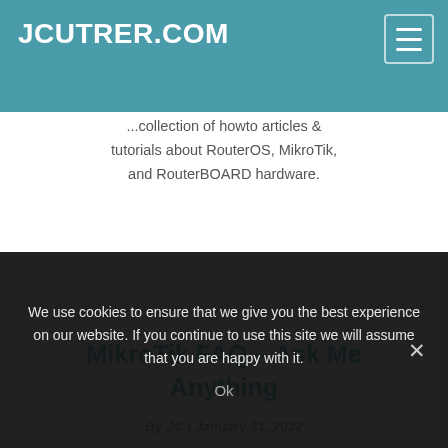JCUTRER.COM
...collection of howto articles & tutorials about RouterOS, MikroTik, and RouterBOARD hardware.
MikroTik FAQ – Ask Me Anything
By JC | January 31, 2022
We use cookies to ensure that we give you the best experience on our website. If you continue to use this site we will assume that you are happy with it.
Ok